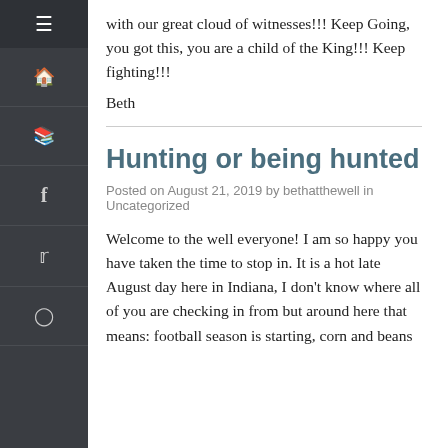with our great cloud of witnesses!!! Keep Going, you got this, you are a child of the King!!! Keep fighting!!!
Beth
Hunting or being hunted
Posted on August 21, 2019 by bethatthewell in Uncategorized
Welcome to the well everyone! I am so happy you have taken the time to stop in. It is a hot late August day here in Indiana, I don't know where all of you are checking in from but around here that means: football season is starting, corn and beans